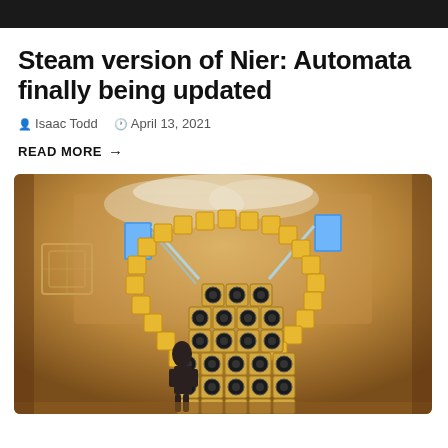[Figure (screenshot): Dark top banner strip]
Steam version of Nier: Automata finally being updated
Isaac Todd  April 13, 2021
READ MORE →
[Figure (screenshot): In-game screenshot from Nier: Automata or similar game showing a warrior character in a large chamber with golden circular patterns arranged in an arch, glowing blue light panels, and a grid of speakers/circular objects]